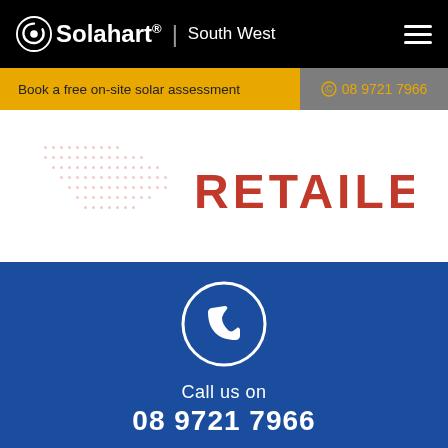Solahart South West
Book a free on-site solar assessment
08 9721 7966
[Figure (logo): Partial retailer badge/logo with red text RETAILER and dot pattern]
[Figure (illustration): Phone handset icon in white circle on blue background]
Call us on
08 9721 7966